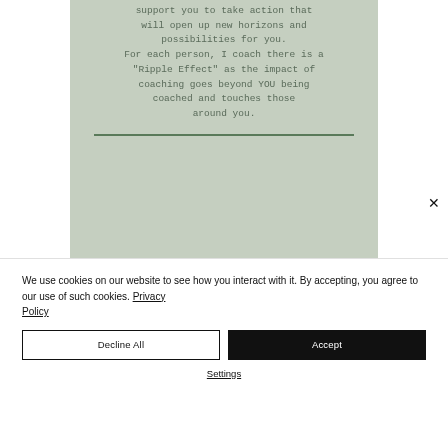support you to take action that will open up new horizons and possibilities for you. For each person, I coach there is a "Ripple Effect" as the impact of coaching goes beyond YOU being coached and touches those around you.
[Figure (photo): Partial view of a light-colored surface or photo, showing muted blue-grey tones with a diagonal element]
We use cookies on our website to see how you interact with it. By accepting, you agree to our use of such cookies. Privacy Policy
Decline All
Accept
Settings